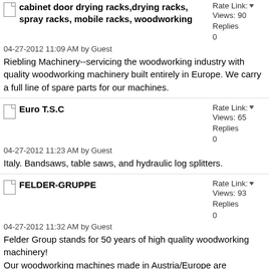cabinet door drying racks,drying racks, spray racks, mobile racks, woodworking
04-27-2012 11:09 AM by Guest
Riebling Machinery--servicing the woodworking industry with quality woodworking machinery built entirely in Europe. We carry a full line of spare parts for our machines.
Rate Link: Views: 90 Replies: 0
Euro T.S.C
04-27-2012 11:23 AM by Guest
Italy. Bandsaws, table saws, and hydraulic log splitters.
Rate Link: Views: 65 Replies: 0
FELDER-GRUPPE
04-27-2012 11:32 AM by Guest
Felder Group stands for 50 years of high quality woodworking machinery!
Our woodworking machines made in Austria/Europe are recognized worldwide for their state-of-the-art technology, design, safety and ease of use.
With three major...
Rate Link: Views: 93 Replies: 0
Giben, macchine impianti per lavorazione del legno, centri di lavoro, bordatrici
Rate Link: Views: 83 Replies: 0